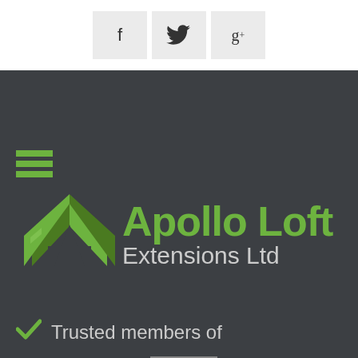[Figure (logo): Social media buttons: Facebook (f), Twitter (bird icon), Google+ (g+) on light grey background]
[Figure (logo): Apollo Loft Extensions Ltd logo with green rooftop/letter-A icon and green Apollo Loft text with grey Extensions Ltd text on dark background]
Trusted members of
[Figure (logo): Small membership badge/logo placeholder image (broken image icon) in white bordered rectangle]
Our portfolio »